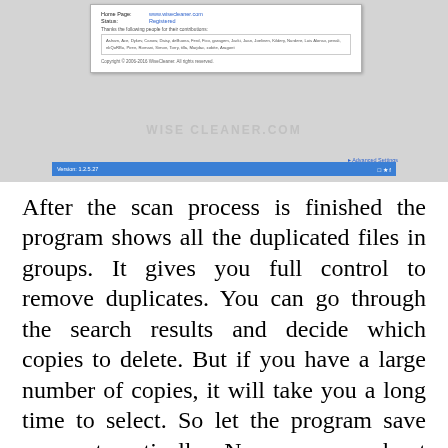[Figure (screenshot): Screenshot of a software application window (Wise Duplicate Cleaner) showing Home Page URL, Status: Registered, contributor credits, copyright notice, watermark text, Advanced Settings link, and a blue version bar at the bottom showing Version 1.2.5.27]
After the scan process is finished the program shows all the duplicated files in groups. It gives you full control to remove duplicates. You can go through the search results and decide which copies to delete. But if you have a large number of copies, it will take you a long time to select. So let the program save one automatically. Never worry about losing the wrong file by mistake. If you delete files by mistake, you can always use the restore function to recover it. Wise Duplicate Cleaner lets you bring them